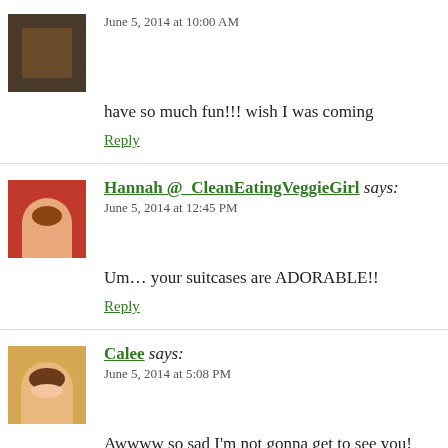June 5, 2014 at 10:00 AM
have so much fun!!! wish I was coming
Reply
Hannah @_CleanEatingVeggieGirl says:
June 5, 2014 at 12:45 PM
Um… your suitcases are ADORABLE!!
Reply
Calee says:
June 5, 2014 at 5:08 PM
Awwww so sad I'm not gonna get to see you! Cute suit
Reply